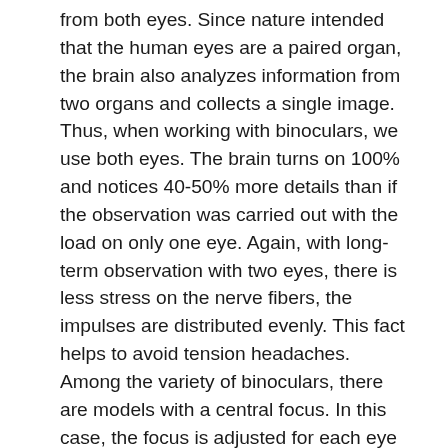from both eyes. Since nature intended that the human eyes are a paired organ, the brain also analyzes information from two organs and collects a single image. Thus, when working with binoculars, we use both eyes. The brain turns on 100% and notices 40-50% more details than if the observation was carried out with the load on only one eye. Again, with long-term observation with two eyes, there is less stress on the nerve fibers, the impulses are distributed evenly. This fact helps to avoid tension headaches. Among the variety of binoculars, there are models with a central focus. In this case, the focus is adjusted for each eye separately. This characteristic is convenient for people with different visual acuity diopters. But there are also simplified models, where focus is on by default and works efficiently in certain ranges. These binoculars can be used due to the physiological accommodation of the human eyes. The advantage of such models is their simplified design, and,